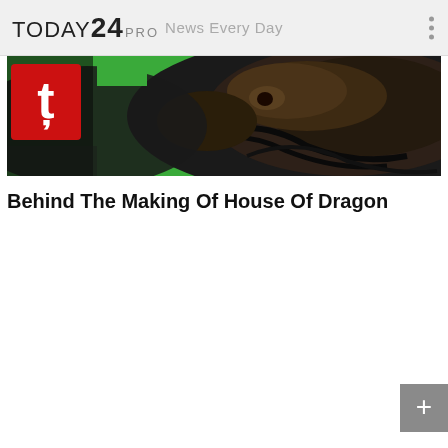TODAY24PRO   News Every Day
[Figure (photo): Close-up image of a dragon creature (from House of Dragon TV series) against a green background, with a red logo icon in the top-left corner of the image]
Behind The Making Of House Of Dragon